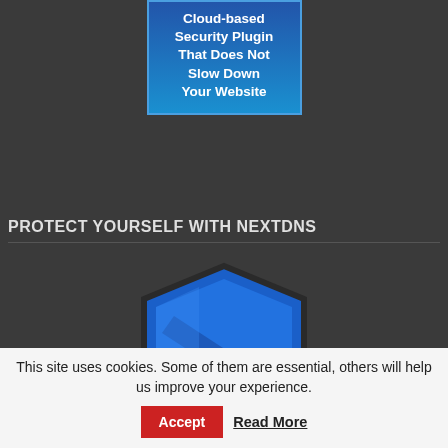[Figure (illustration): Blue gradient box with white bold text reading: Cloud-based Security Plugin That Does Not Slow Down Your Website]
PROTECT YOURSELF WITH NEXTDNS
[Figure (illustration): Blue shield icon with a diagonal stripe detail, representing NextDNS security protection, on a dark gray background]
LEGAL STUFF
This site uses cookies. Some of them are essential, others will help us improve your experience.
Accept
Read More